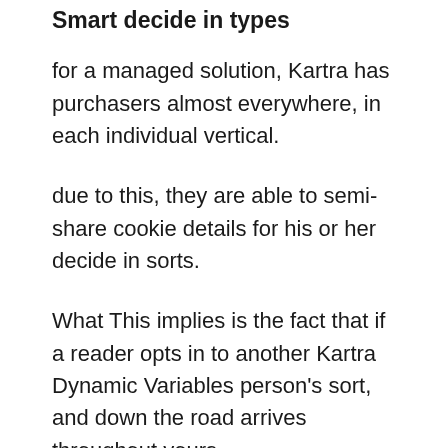Smart decide in types
for a managed solution, Kartra has purchasers almost everywhere, in each individual vertical.
due to this, they are able to semi-share cookie details for his or her decide in sorts.
What This implies is the fact that if a reader opts in to another Kartra Dynamic Variables person's sort, and down the road arrives throughout yours…
His information might be pre-loaded in, so all he must do is click the “sign on” button!
This is important, since it gets rid of yet one more bit of friction within the register process, which